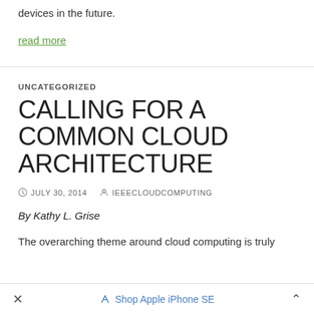devices in the future.
read more
UNCATEGORIZED
CALLING FOR A COMMON CLOUD ARCHITECTURE
JULY 30, 2014   IEEECLOUDCOMPUTING
By Kathy L. Grise
The overarching theme around cloud computing is truly
× Shop Apple iPhone SE ^